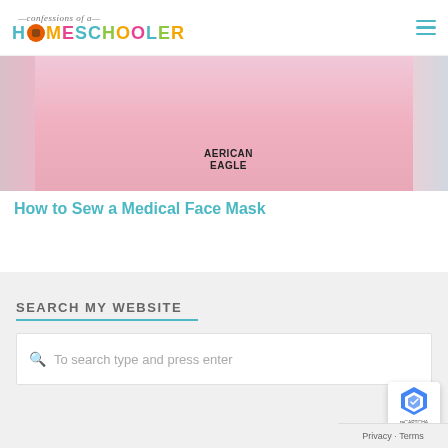Confessions of a Homeschooler
[Figure (photo): Photo of a person wearing a pink hoodie covering face with hands, showing American Eagle text on the sweatshirt]
How to Sew a Medical Face Mask
SEARCH MY WEBSITE
To search type and press enter